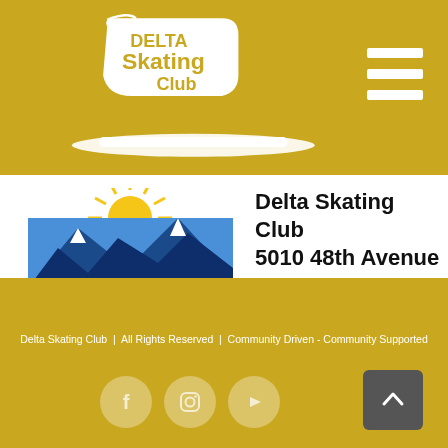[Figure (logo): Delta Skating Club logo — white ice skate with text 'DELTA Skating Club' on golden background]
[Figure (logo): Hamburger menu icon — three white horizontal bars on golden background]
[Figure (logo): British Columbia logo with mountains and text 'BRITISH COLUMBIA — Programs are supported by the Province of British Columbia']
[Figure (logo): Small Delta Skating Club logo — ice skate with 'Skating Club' text in gold]
Delta Skating Club
5010 48th Avenue
P.O. Box 227
Delta, B.C. Canada, V4K 3N7
Delta Skating Club | All Rights Reserved | Community Driven - Community Supported